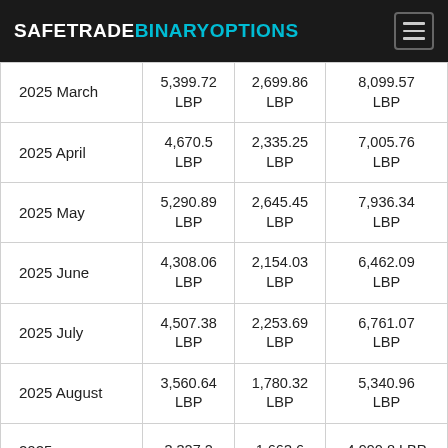SAFETRADEBINARYOPTIONS
| 2025 March | 5,399.72 LBP | 2,699.86 LBP | 8,099.57 LBP |
| 2025 April | 4,670.5 LBP | 2,335.25 LBP | 7,005.76 LBP |
| 2025 May | 5,290.89 LBP | 2,645.45 LBP | 7,936.34 LBP |
| 2025 June | 4,308.06 LBP | 2,154.03 LBP | 6,462.09 LBP |
| 2025 July | 4,507.38 LBP | 2,253.69 LBP | 6,761.07 LBP |
| 2025 August | 3,560.64 LBP | 1,780.32 LBP | 5,340.96 LBP |
| 2025 | 3,327.2 | 1,663.6 | 4,990.8 LBP |